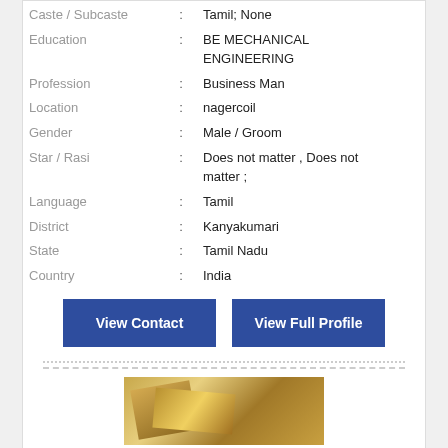| Caste / Subcaste | : | Tamil; None |
| Education | : | BE MECHANICAL ENGINEERING |
| Profession | : | Business Man |
| Location | : | nagercoil |
| Gender | : | Male / Groom |
| Star / Rasi | : | Does not matter , Does not matter ; |
| Language | : | Tamil |
| District | : | Kanyakumari |
| State | : | Tamil Nadu |
| Country | : | India |
View Contact
View Full Profile
[Figure (photo): Partial photo of a golden/wooden decorative object at the bottom of the page]